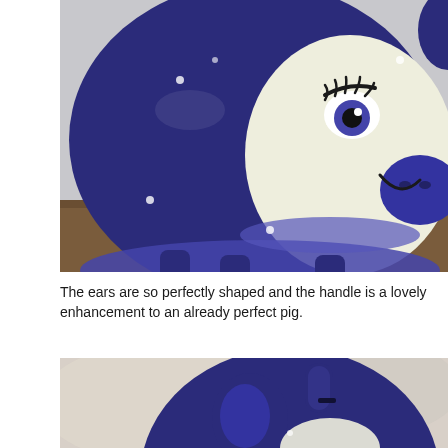[Figure (photo): Close-up photo of a dark navy blue ceramic pig figurine/piggy bank with a cream-colored face area featuring painted facial features including an eye with lashes, eyebrow, and smiling mouth. The pig has white dot accents and a light blue collar band. Pig legs visible at bottom, sitting on a wooden surface.]
The ears are so perfectly shaped and the handle is a lovely enhancement to an already perfect pig.
[Figure (photo): Close-up photo of the top/back of the same dark navy blue ceramic pig, showing the pig's ear and a handle or loop at the top, with a blurred light background.]